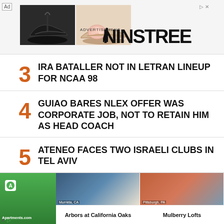[Figure (advertisement): Ninstree shoe advertisement banner with two shoe images and brand name]
3 IRA BATALLER NOT IN LETRAN LINEUP FOR NCAA 98
4 GUIAO BARES NLEX OFFER WAS CORPORATE JOB, NOT TO RETAIN HIM AS HEAD COACH
5 ATENEO FACES TWO ISRAELI CLUBS IN TEL AVIV
[Figure (advertisement): Apartments.com banner ad showing Arbors at California Oaks (Murrieta, CA) and Mulberry Lofts (Pittsburgh, PA)]